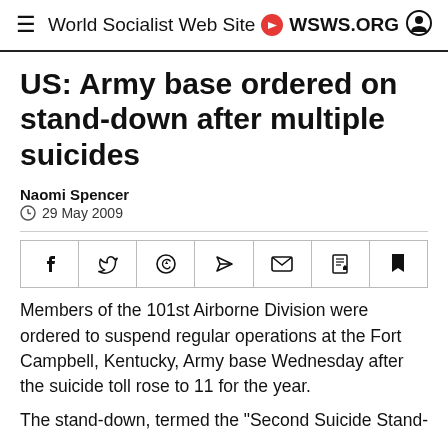World Socialist Web Site • WSWS.ORG
US: Army base ordered on stand-down after multiple suicides
Naomi Spencer
29 May 2009
[Figure (other): Social share buttons: Facebook, Twitter, WhatsApp, Telegram, Email, PDF, Bookmark]
Members of the 101st Airborne Division were ordered to suspend regular operations at the Fort Campbell, Kentucky, Army base Wednesday after the suicide toll rose to 11 for the year.
The stand-down, termed the "Second Suicide Stand-..."